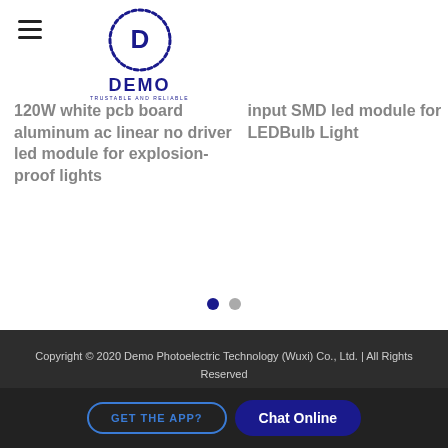[Figure (logo): DEMO Photoelectric Technology circular logo with D letter in center, dashed circle border, text DEMO TRUSTABLE AND RELIABLE below]
120W white pcb board aluminum ac linear no driver led module for explosion-proof lights
input SMD led module for LEDBulb Light
[Figure (other): Carousel pagination dots: one active (dark blue) and one inactive (gray)]
Copyright © 2020 Demo Photoelectric Technology (Wuxi) Co., Ltd. | All Rights Reserved
GET THE APP?
Chat Online